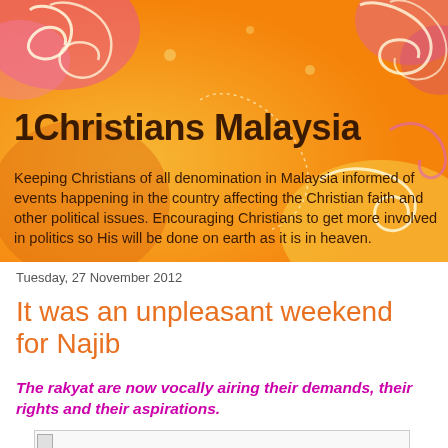[Figure (illustration): Orange and yellow decorative blog header banner with swirling floral/spiral patterns in yellow, white, and pink on an orange gradient background]
1Christians Malaysia
Keeping Christians of all denomination in Malaysia informed of events happening in the country affecting the Christian faith and other political issues. Encouraging Christians to get more involved in politics so His will be done on earth as it is in heaven.
Tuesday, 27 November 2012
It was an unpleasant weekend for Najib
The rakyat are now vocally airing their demands, their rights and their aspirations.
[Figure (photo): Partially loaded image placeholder at bottom of page]